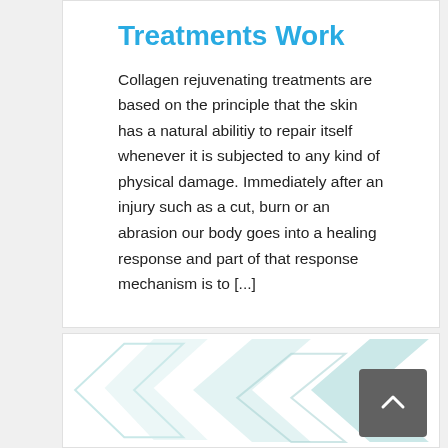Treatments Work
Collagen rejuvenating treatments are based on the principle that the skin has a natural abilitiy to repair itself whenever it is subjected to any kind of physical damage. Immediately after an injury such as a cut, burn or an abrasion our body goes into a healing response and part of that response mechanism is to [...]
[Figure (illustration): Decorative geometric arrow/triangle shapes in light teal/mint color, forming a background pattern in the bottom card section]